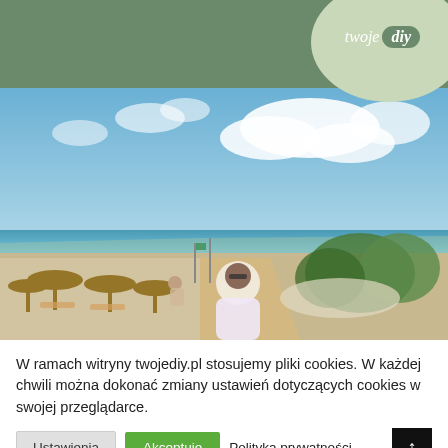twoje diy
[Figure (photo): Woman standing on a beach promenade with thatched umbrellas and sunbeds on the left, green bushes on the right, sea and blue sky with white clouds in the background.]
W ramach witryny twojediy.pl stosujemy pliki cookies. W każdej chwili można dokonać zmiany ustawień dotyczących cookies w swojej przeglądarce.
Ustawienia	Akceptuję	Polityka prywatności